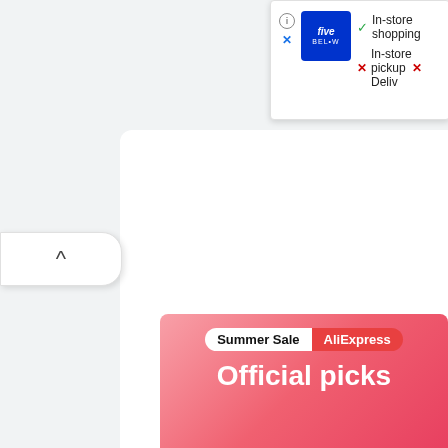[Figure (screenshot): Five Below store card showing in-store shopping availability. Contains Five Below logo (blue square), info icon, X icon, checkmark for In-store shopping, X for In-store pickup, X for Delivery (partially visible).]
[Figure (screenshot): A collapse/expand tab button with an upward chevron arrow (^) on the left side of the page.]
[Figure (screenshot): AliExpress Summer Sale advertisement banner at the bottom. Shows 'Summer Sale' badge in white pill and 'AliExpress' in red pill, followed by bold white text 'Official picks' on a pink-to-red gradient background.]